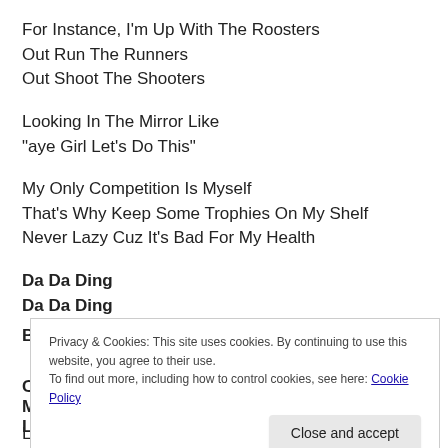For Instance, I'm Up With The Roosters
Out Run The Runners
Out Shoot The Shooters
Looking In The Mirror Like
“aye Girl Let’s Do This”
My Only Competition Is Myself
That’s Why Keep Some Trophies On My Shelf
Never Lazy Cuz It’s Bad For My Health
Da Da Ding
Da Da Ding
B
C
M
L
Privacy & Cookies: This site uses cookies. By continuing to use this website, you agree to their use.
To find out more, including how to control cookies, see here: Cookie Policy
Close and accept
Let’s Go (da Da Ding)